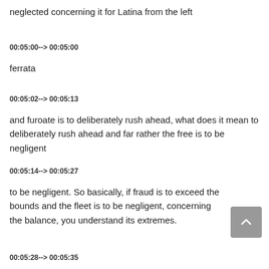neglected concerning it for Latina from the left
00:05:00--> 00:05:00
ferrata
00:05:02--> 00:05:13
and furoate is to deliberately rush ahead, what does it mean to deliberately rush ahead and far rather the free is to be negligent
00:05:14--> 00:05:27
to be negligent. So basically, if fraud is to exceed the bounds and the fleet is to be negligent, concerning the balance, you understand its extremes.
00:05:28--> 00:05:35